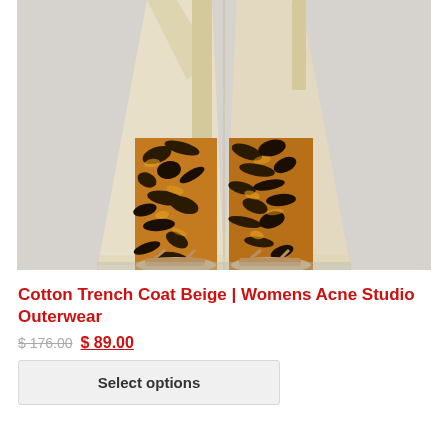[Figure (photo): Fashion product photo showing lower half of a person wearing a long beige cotton trench coat over tiger-print wide-leg trousers (brown, black, gold pattern), with beige open-toe sandals, against a light gray background.]
Cotton Trench Coat Beige | Womens Acne Studio Outerwear
$ 176.00 $ 89.00
Select options